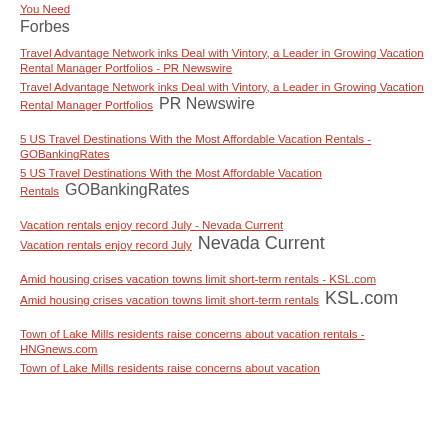You Need  Forbes
Travel Advantage Network inks Deal with Vintory, a Leader in Growing Vacation Rental Manager Portfolios - PR Newswire
Travel Advantage Network inks Deal with Vintory, a Leader in Growing Vacation Rental Manager Portfolios  PR Newswire
5 US Travel Destinations With the Most Affordable Vacation Rentals - GOBankingRates
5 US Travel Destinations With the Most Affordable Vacation Rentals  GOBankingRates
Vacation rentals enjoy record July - Nevada Current
Vacation rentals enjoy record July  Nevada Current
Amid housing crises vacation towns limit short-term rentals - KSL.com
Amid housing crises vacation towns limit short-term rentals  KSL.com
Town of Lake Mills residents raise concerns about vacation rentals - HNGnews.com
Town of Lake Mills residents raise concerns about vacation